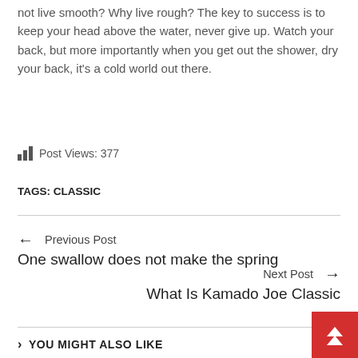not live smooth? Why live rough? The key to success is to keep your head above the water, never give up. Watch your back, but more importantly when you get out the shower, dry your back, it's a cold world out there.
Post Views: 377
TAGS: CLASSIC
← Previous Post
One swallow does not make the spring
Next Post →
What Is Kamado Joe Classic
YOU MIGHT ALSO LIKE